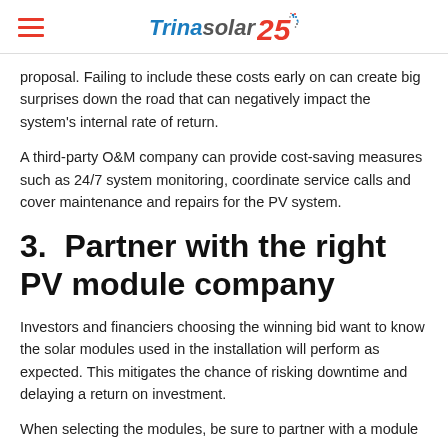Trina solar 25
proposal. Failing to include these costs early on can create big surprises down the road that can negatively impact the system's internal rate of return.
A third-party O&M company can provide cost-saving measures such as 24/7 system monitoring, coordinate service calls and cover maintenance and repairs for the PV system.
3.  Partner with the right PV module company
Investors and financiers choosing the winning bid want to know the solar modules used in the installation will perform as expected. This mitigates the chance of risking downtime and delaying a return on investment.
When selecting the modules, be sure to partner with a module